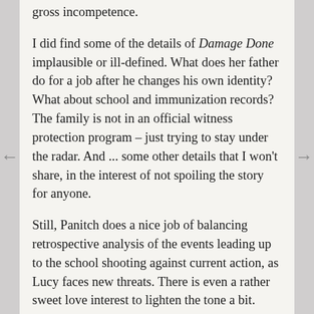gross incompetence.
I did find some of the details of Damage Done implausible or ill-defined. What does her father do for a job after he changes his own identity? What about school and immunization records? The family is not in an official witness protection program – just trying to stay under the radar. And ... some other details that I won't share, in the interest of not spoiling the story for anyone.
Still, Panitch does a nice job of balancing retrospective analysis of the events leading up to the school shooting against current action, as Lucy faces new threats. There is even a rather sweet love interest to lighten the tone a bit.
Damage Done is compelling but leaves me of